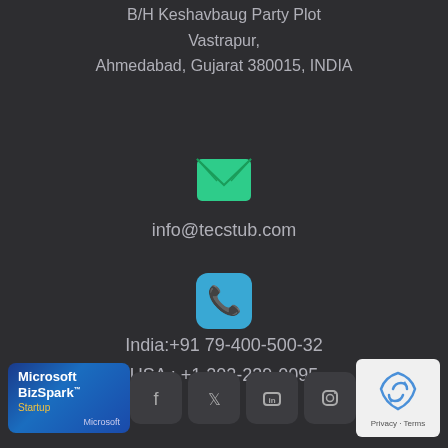B/H Keshavbaug Party Plot
Vastrapur,
Ahmedabad, Gujarat 380015, INDIA
[Figure (illustration): Green email/envelope icon]
info@tecstub.com
[Figure (illustration): Blue phone/call icon with rounded rectangle background]
India:+91 79-400-500-32
USA : +1 202-239-0095
[Figure (logo): Microsoft BizSpark Startup badge]
[Figure (illustration): Social media icons: Facebook, Twitter, LinkedIn, Instagram]
[Figure (illustration): reCAPTCHA badge with Privacy and Terms text]